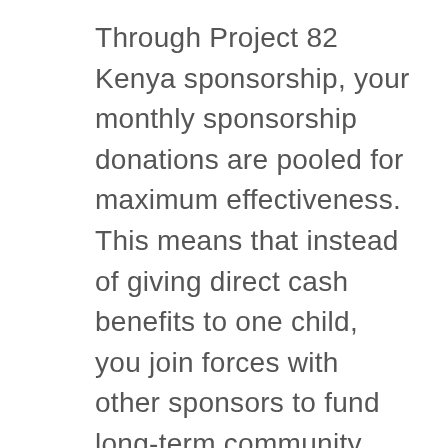Through Project 82 Kenya sponsorship, your monthly sponsorship donations are pooled for maximum effectiveness. This means that instead of giving direct cash benefits to one child, you join forces with other sponsors to fund long-term community development programs that benefit the whole community. Some organizations focus on providing handouts or only helping individual sponsored children, but we've learned this can divide communities and slow progress. In other parts of the world, societies are much more communal and